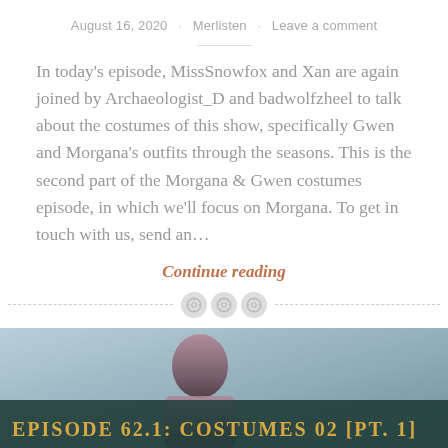August 16, 2020 · Merlisten · Leave a comment
In today's episode, MissSnowfox and Xan are again joined by Archaeologist_D and badwolfzheel to talk about the costumes of this show, specifically Gwen and Morgana's outfits through the seasons. This is the second part of the Morgana & Gwen costumes episode, in which we'll focus on Morgana. To get in touch with us, send an…
Continue reading
[Figure (illustration): Decorative separator with three button/gear icons on a dashed horizontal line]
[Figure (photo): Thumbnail image for Episode 62.1: Costumes 02 [Pt. 1], showing a person with dark hair against a sky background with a dark teal overlay banner showing the episode title in gold text]